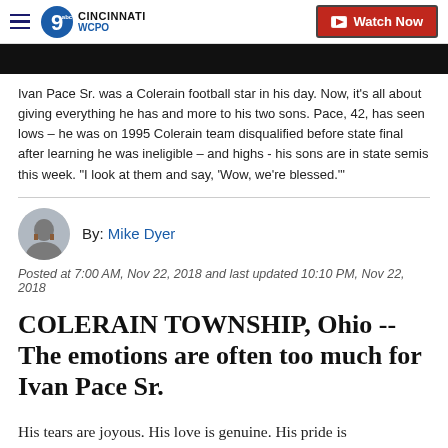WCPO 9 Cincinnati | Watch Now
[Figure (photo): Dark/black image strip at top of article, partial view of a news photo]
Ivan Pace Sr. was a Colerain football star in his day. Now, it's all about giving everything he has and more to his two sons. Pace, 42, has seen lows – he was on 1995 Colerain team disqualified before state final after learning he was ineligible – and highs - his sons are in state semis this week. “I look at them and say, ‘Wow, we’re blessed.’”
By: Mike Dyer
Posted at 7:00 AM, Nov 22, 2018 and last updated 10:10 PM, Nov 22, 2018
COLERAIN TOWNSHIP, Ohio -- The emotions are often too much for Ivan Pace Sr.
His tears are joyous. His love is genuine. His pride is